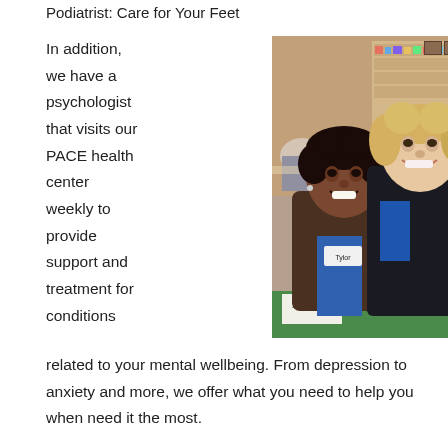Podiatrist: Care for Your Feet
In addition, we have a psychologist that visits our PACE health center weekly to provide support and treatment for conditions related to your mental wellbeing. From depression to anxiety and more, we offer what you need to help you when need it the most.
[Figure (photo): Two women smiling together at an indoor event. One woman wears a name tag reading 'Tylor' and a brown jacket; the other has blonde hair and wears a dark jacket with a blue scarf. Colorful gift bags with tissue paper are visible in the foreground. The background shows shelves and other people.]